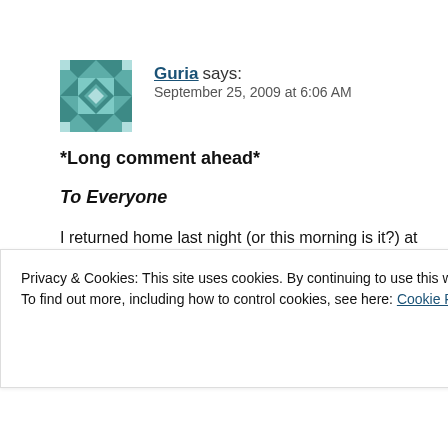Guria says:
September 25, 2009 at 6:06 AM
*Long comment ahead*
To Everyone
I returned home last night (or this morning is it?) at sleep. I just skimmed through your comments and reply before doing it individually.
Privacy & Cookies: This site uses cookies. By continuing to use this website, you agree to their use.
To find out more, including how to control cookies, see here: Cookie Policy
Close and accept